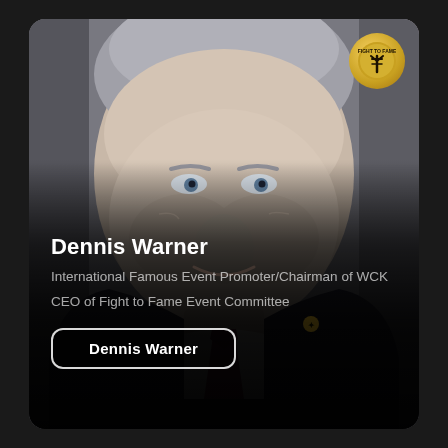[Figure (photo): Portrait photo of Dennis Warner, a middle-aged man with gray hair wearing a dark suit and burgundy/pink tie, smiling slightly. A gold Fight to Fame logo badge is visible in the upper right corner of the card.]
Dennis Warner
International Famous Event Promoter/Chairman of WCK
CEO of Fight to Fame Event Committee
Dennis Warner